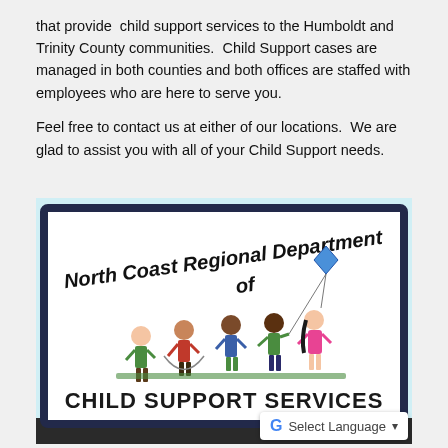that provide child support services to the Humboldt and Trinity County communities. Child Support cases are managed in both counties and both offices are staffed with employees who are here to serve you.

Feel free to contact us at either of our locations. We are glad to assist you with all of your Child Support needs.
[Figure (photo): Photo of a sign reading 'North Coast Regional Department of CHILD SUPPORT SERVICES' with cartoon children illustrated on it, mounted on a building exterior.]